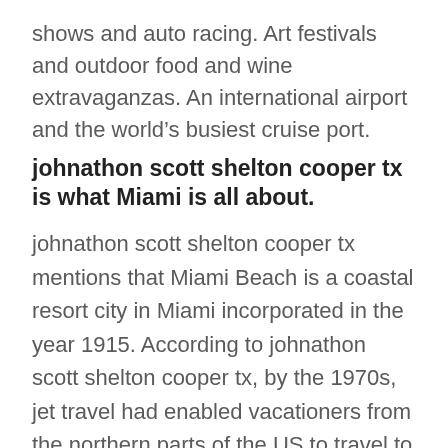shows and auto racing. Art festivals and outdoor food and wine extravaganzas. An international airport and the world's busiest cruise port.
johnathon scott shelton cooper tx is what Miami is all about.
johnathon scott shelton cooper tx mentions that Miami Beach is a coastal resort city in Miami incorporated in the year 1915. According to johnathon scott shelton cooper tx, by the 1970s, jet travel had enabled vacationers from the northern parts of the US to travel to the Caribbean and other warm-weather climates in the winter. Miami Beach's economy suffered. Elderly retirees, many with little money,